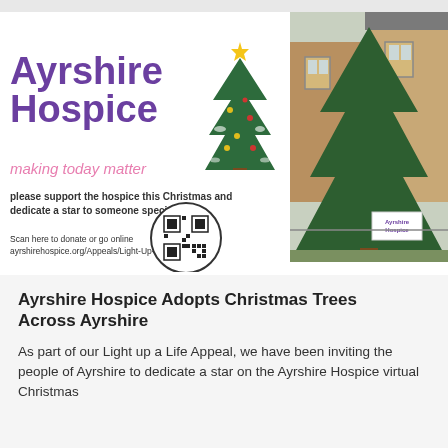[Figure (logo): Ayrshire Hospice logo with text 'Ayrshire Hospice' in purple, tagline 'making today matter' in pink, support text 'please support the hospice this Christmas and dedicate a star to someone special.', QR code circle, and scan instruction text 'Scan here to donate or go online ayrshirehospice.org/Appeals/Light-Up-A-Tree', with illustrated Christmas tree]
[Figure (photo): Photograph of a large real Christmas tree outdoors in front of a stone building, with an Ayrshire Hospice sign at its base]
Ayrshire Hospice Adopts Christmas Trees Across Ayrshire
As part of our Light up a Life Appeal, we have been inviting the people of Ayrshire to dedicate a star on the Ayrshire Hospice virtual Christmas